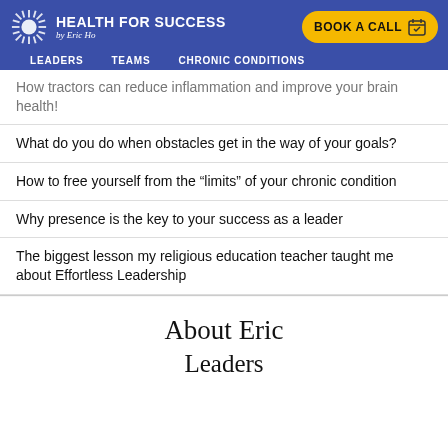[Figure (logo): Health for Success by Eric Ho logo with sunflower/starburst icon on blue background]
LEADERS   TEAMS   CHRONIC CONDITIONS
How tractors can reduce inflammation and improve your brain health!
What do you do when obstacles get in the way of your goals?
How to free yourself from the “limits” of your chronic condition
Why presence is the key to your success as a leader
The biggest lesson my religious education teacher taught me about Effortless Leadership
About Eric
Leaders